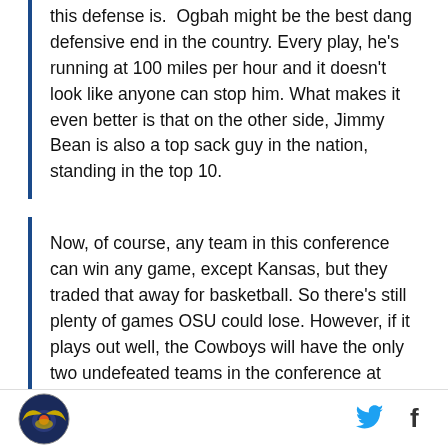this defense is. Ogbah might be the best dang defensive end in the country. Every play, he's running at 100 miles per hour and it doesn't look like anyone can stop him. What makes it even better is that on the other side, Jimmy Bean is also a top sack guy in the nation, standing in the top 10.
Now, of course, any team in this conference can win any game, except Kansas, but they traded that away for basketball. So there's still plenty of games OSU could lose. However, if it plays out well, the Cowboys will have the only two undefeated teams in the conference at home near the end of the season.
[Figure (logo): OSU/sports website logo in footer — circular emblem with wings]
[Figure (other): Twitter bird icon (social media share button)]
[Figure (other): Facebook 'f' icon (social media share button)]